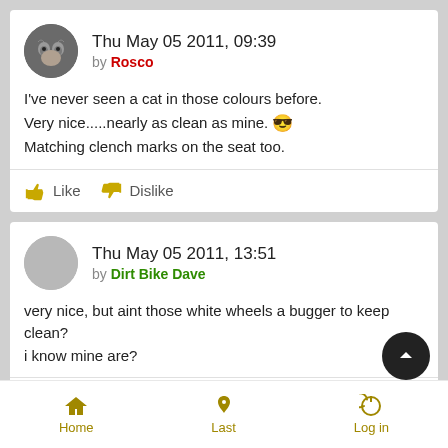Thu May 05 2011, 09:39 by Rosco
I've never seen a cat in those colours before. Very nice.....nearly as clean as mine. 😎 Matching clench marks on the seat too.
Like  Dislike
Thu May 05 2011, 13:51 by Dirt Bike Dave
very nice, but aint those white wheels a bugger to keep clean? i know mine are?
Like  Dislike
Home  Last  Log in